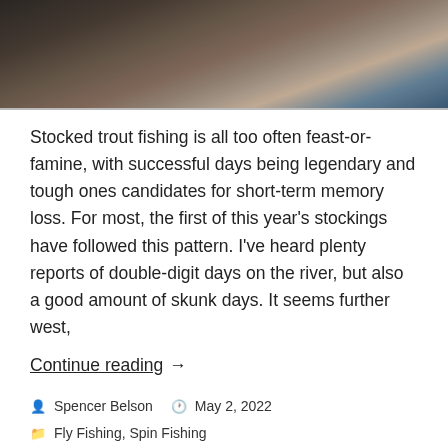[Figure (photo): Partial photograph of a fish or fishing scene, dark brown and grey tones, cropped at top of page]
Stocked trout fishing is all too often feast-or-famine, with successful days being legendary and tough ones candidates for short-term memory loss. For most, the first of this year’s stockings have followed this pattern. I’ve heard plenty reports of double-digit days on the river, but also a good amount of skunk days. It seems further west,
Continue reading →
👤 Spencer Belson   🕐 May 2, 2022
📁 Fly Fishing, Spin Fishing
🏷 brook trout, brown trout, Fly Fishing, largemouth bass, Massachusetts, rainbow trout, Shawsheen River, Spin Fishing, stocked trout, wooly bugger